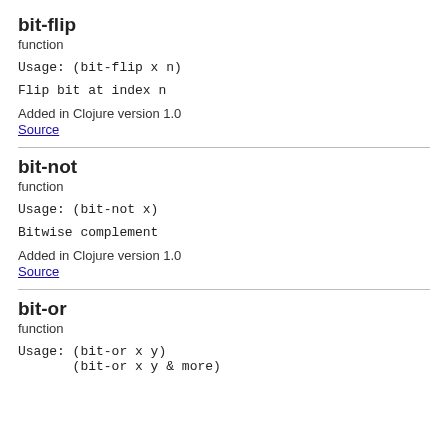bit-flip
function
Usage: (bit-flip x n)
Flip bit at index n
Added in Clojure version 1.0
Source
bit-not
function
Usage: (bit-not x)
Bitwise complement
Added in Clojure version 1.0
Source
bit-or
function
Usage: (bit-or x y)
       (bit-or x y & more)